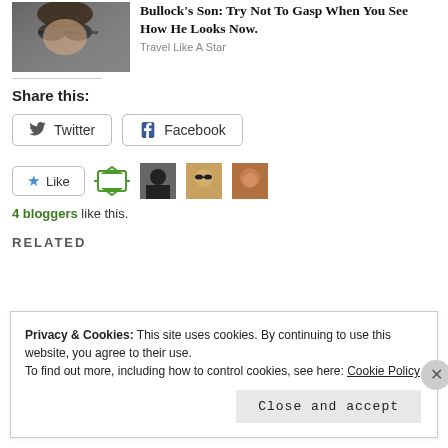[Figure (photo): Woman wearing sunglasses (celebrity photo)]
Bullock's Son: Try Not To Gasp When You See How He Looks Now.
Travel Like A Star
Share this:
[Figure (other): Twitter share button]
[Figure (other): Facebook share button]
[Figure (other): Like button with 4 blogger avatars]
4 bloggers like this.
RELATED
Privacy & Cookies: This site uses cookies. By continuing to use this website, you agree to their use.
To find out more, including how to control cookies, see here: Cookie Policy
Close and accept